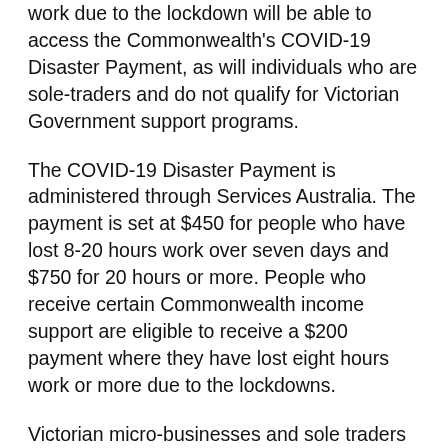work due to the lockdown will be able to access the Commonwealth's COVID-19 Disaster Payment, as will individuals who are sole-traders and do not qualify for Victorian Government support programs.
The COVID-19 Disaster Payment is administered through Services Australia. The payment is set at $450 for people who have lost 8-20 hours work over seven days and $750 for 20 hours or more. People who receive certain Commonwealth income support are eligible to receive a $200 payment where they have lost eight hours work or more due to the lockdowns.
Victorian micro-businesses and sole traders who wish to apply for the Commonwealth